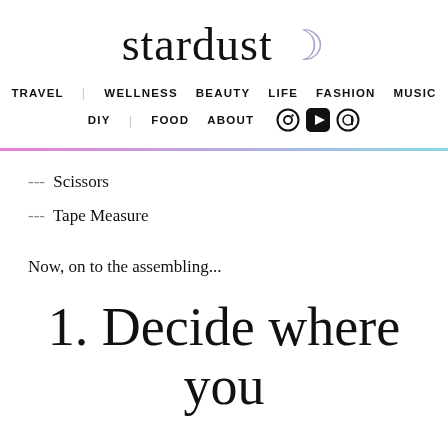stardust
TRAVEL  WELLNESS  BEAUTY  LIFE  FASHION  MUSIC  DIY  FOOD  ABOUT
--- Scissors
--- Tape Measure
Now, on to the assembling...
1. Decide where you